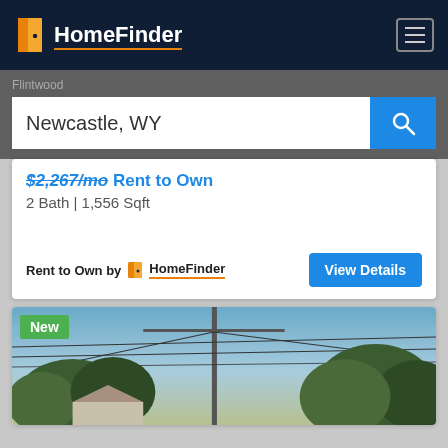HomeFinder
Newcastle, WY
$2,267/mo Rent to Own
2 Bath | 1,556 Sqft
Rent to Own by HomeFinder
View Details
[Figure (photo): Street view photo of a residential property in Newcastle, WY, with trees, utility pole and power lines against a blue sky. Green 'New' badge in top left corner.]